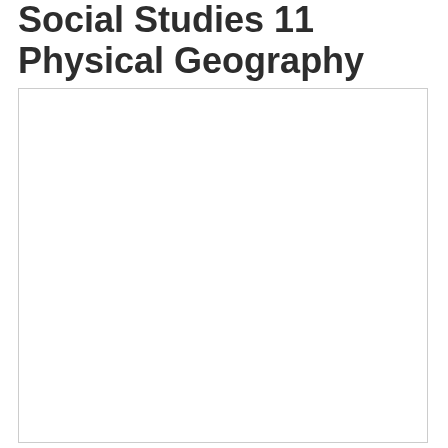Social Studies 11 Physical Geography
[Figure (other): Blank white rectangular image placeholder below the title 'Social Studies 11 Physical Geography']